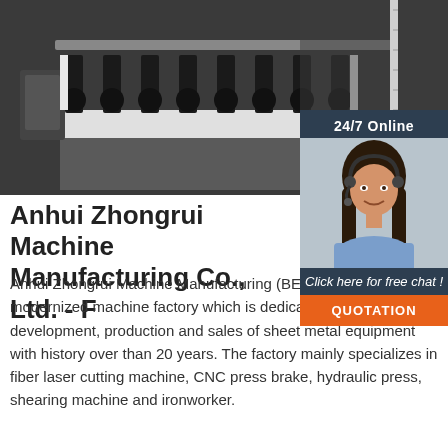[Figure (photo): Industrial machinery — conveyor/roller system with black metal components on a white frame, in a factory setting]
[Figure (photo): Chat widget overlay: '24/7 Online' header, female customer service agent with headset, 'Click here for free chat!' text, and orange QUOTATION button]
Anhui Zhongrui Machine Manufacturing Co., Ltd. - F
Anhui Zhongrui Machine Manufacturing (BEILIN/RAYMAX)is a modernized machine factory which is dedicated to the development, production and sales of sheet metal equipment with history over than 20 years. The factory mainly specializes in fiber laser cutting machine, CNC press brake, hydraulic press, shearing machine and ironworker.